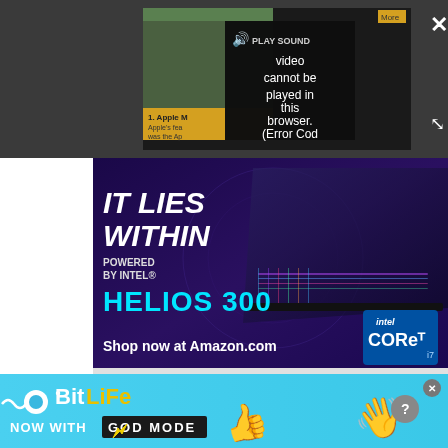[Figure (screenshot): Video player overlay showing 'PLAY SOUND' button with speaker icon and error message: 'Video cannot be played in this browser. (Error Cod' on dark background with close and expand buttons]
[Figure (screenshot): Advertisement for Acer Predator Helios 300 gaming laptop: 'IT LIES WITHIN - POWERED BY INTEL - HELIOS 300 - Shop now at Amazon.com' with Intel Core i7 badge, dark blue/purple background with laptop image]
[Figure (screenshot): BitLife advertisement: 'BitLife NOW WITH GOD MODE' on light blue background with hand and thumbs-up icons]